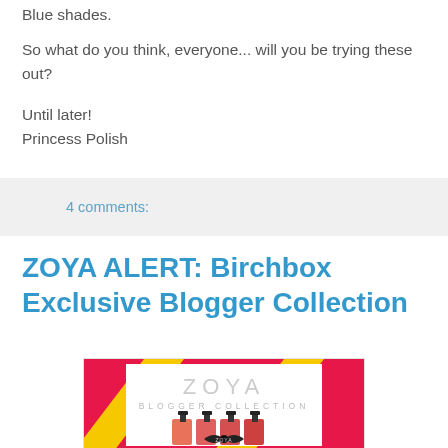Blue shades.
So what do you think, everyone... will you be trying these out?
Until later!
Princess Polish
4 comments:
ZOYA ALERT: Birchbox Exclusive Blogger Collection
[Figure (photo): Zoya Blogger Collection product image showing nail polish bottles on a red and yellow patterned background with 'ZOYA BLOGGER COLLECTION' text]